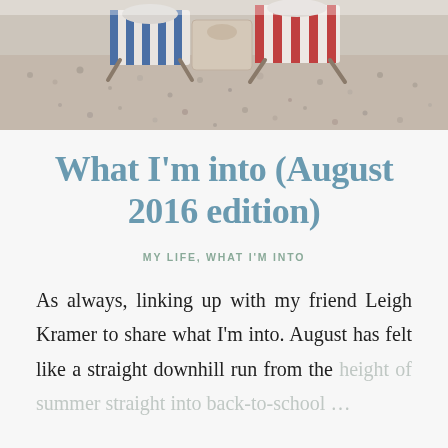[Figure (photo): Beach scene with striped deck chairs (blue/white and red/white) on a pebbly beach, top banner photo]
What I’m into (August 2016 edition)
MY LIFE, WHAT I’M INTO
As always, linking up with my friend Leigh Kramer to share what I’m into. August has felt like a straight downhill run from the height of summer straight into back-to-school …